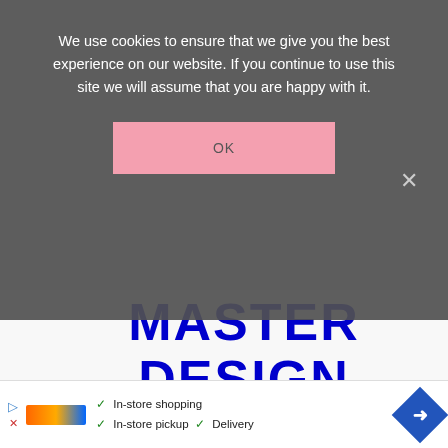We use cookies to ensure that we give you the best experience on our website. If you continue to use this site we will assume that you are happy with it.
OK
MASTER DESIGN SPACE! GET THE DESIGN SPACE CHEAT SHEETS FOR BEGINNERS!
[Figure (screenshot): Advertisement banner at the bottom showing store shopping options with checkmarks for In-store shopping, In-store pickup, and Delivery, with a blue diamond arrow icon on the right.]